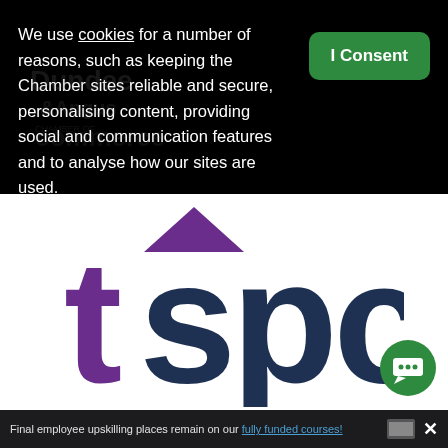We use cookies for a number of reasons, such as keeping the Chamber sites reliable and secure, personalising content, providing social and communication features and to analyse how our sites are used.
[Figure (logo): tspc logo — purple letter 't' with a purple upward-pointing triangle/arrow above the 's', followed by dark navy 'spc' letters]
Final employee upskilling places remain on our fully funded courses!